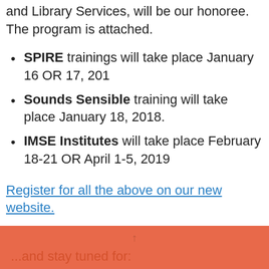NYSDOE Executive Director of Literacy, AIS and Library Services, will be our honoree. The program is attached.
SPIRE trainings will take place January 16 OR 17, 201
Sounds Sensible training will take place January 18, 2018.
IMSE Institutes will take place February 18-21 OR April 1-5, 2019
Register for all the above on our new website.
...and stay tuned for: